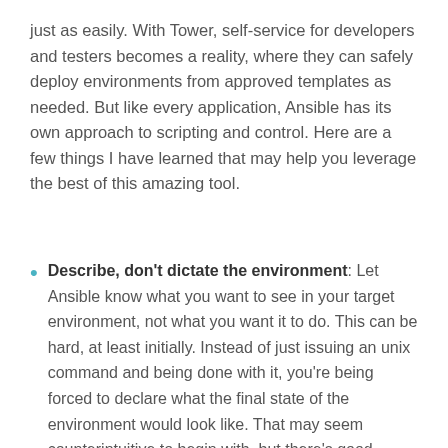just as easily. With Tower, self-service for developers and testers becomes a reality, where they can safely deploy environments from approved templates as needed. But like every application, Ansible has its own approach to scripting and control. Here are a few things I have learned that may help you leverage the best of this amazing tool.
Describe, don't dictate the environment: Let Ansible know what you want to see in your target environment, not what you want it to do. This can be hard, at least initially. Instead of just issuing an unix command and being done with it, you're being forced to declare what the final state of the environment would look like. That may seem counterintuitive to begin with, but there's good reason for this. Leaving the actual remote execution to Ansible modules gives you a reliable, replicable and scalable way to version, maintain and deploy infrastructure instead of having to debug shell